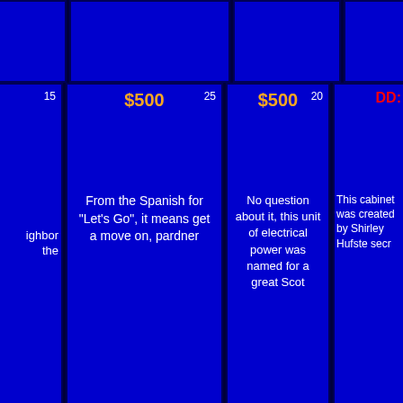[Figure (other): Jeopardy game board grid showing clue cells with dollar amounts and clue text. Cells visible: row 1 top (blue empty), row 2 with clue number 15, $500 amount, clue number 25, $500 amount, clue number 20, DD: (Daily Double). Clue texts: 'From the Spanish for "Let\'s Go", it means get a move on, pardner', 'No question about it, this unit of electrical power was named for a great Scot', 'This cabinet was created by Shirley Hufstedler as secr[etary]'. Partial left cell shows 'ghbor he'.]
Scores at the first commercial break (after clue 15):
| Bob | Jack | Rosemary |
| --- | --- | --- |
| $2,400 | $200 | $100 |
Scores at the end of the Jeopardy! Round:
| Bob | Jack | Rosemary |
| --- | --- | --- |
| $4,900 | $1,700 | $600 |